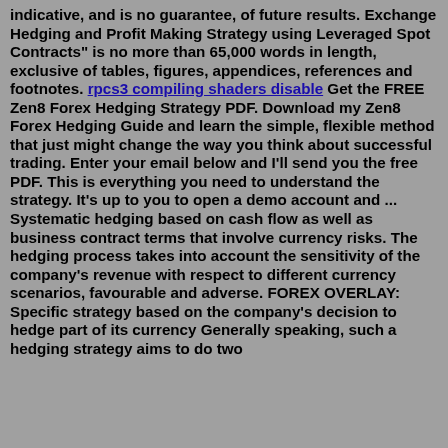indicative, and is no guarantee, of future results. Exchange Hedging and Profit Making Strategy using Leveraged Spot Contracts" is no more than 65,000 words in length, exclusive of tables, figures, appendices, references and footnotes. rpcs3 compiling shaders disable Get the FREE Zen8 Forex Hedging Strategy PDF. Download my Zen8 Forex Hedging Guide and learn the simple, flexible method that just might change the way you think about successful trading. Enter your email below and I'll send you the free PDF. This is everything you need to understand the strategy. It's up to you to open a demo account and ... Systematic hedging based on cash flow as well as business contract terms that involve currency risks. The hedging process takes into account the sensitivity of the company’s revenue with respect to different currency scenarios, favourable and adverse. FOREX OVERLAY: Specific strategy based on the company’s decision to hedge part of its currency Generally speaking, such a hedging strategy aims to do two